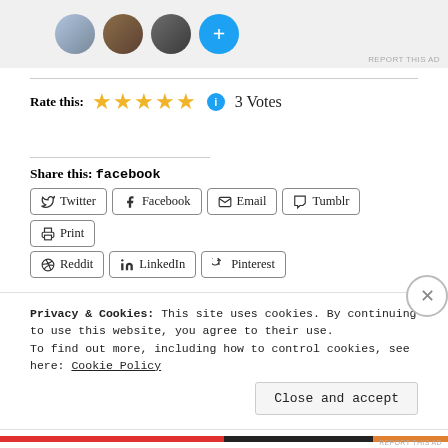[Figure (other): Ad banner with profile avatars and a blue plus button]
Rate this: ★★★★★ 3 Votes
Share this: facebook
Twitter Facebook Email Tumblr Print Reddit LinkedIn Pinterest (share buttons)
Privacy & Cookies: This site uses cookies. By continuing to use this website, you agree to their use. To find out more, including how to control cookies, see here: Cookie Policy
Close and accept